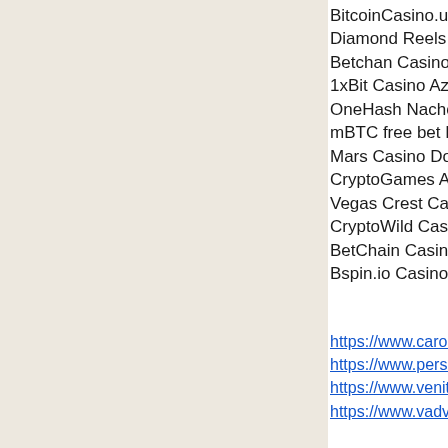BitcoinCasino.us Cos
Diamond Reels Casi
Betchan Casino Vikir
1xBit Casino Aztec T
OneHash Nacho Libr
mBTC free bet Moto
Mars Casino Dolphin
CryptoGames All Wa
Vegas Crest Casino
CryptoWild Casino B
BetChain Casino Go
Bspin.io Casino The
https://www.carolineg
https://www.personal
https://www.venitass
https://www.vadvoca